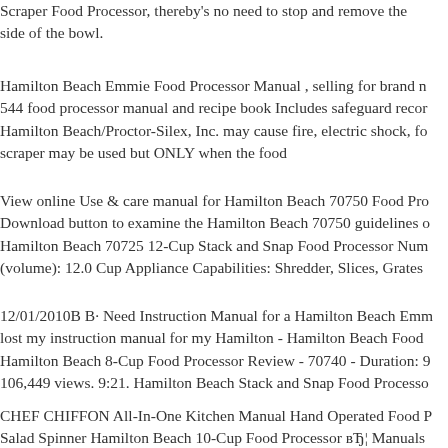Scraper Food Processor, thereby's no need to stop and remove the side of the bowl.
Hamilton Beach Emmie Food Processor Manual , selling for brand n 544 food processor manual and recipe book Includes safeguard recor Hamilton Beach/Proctor-Silex, Inc. may cause fire, electric shock, fo scraper may be used but ONLY when the food
View online Use & care manual for Hamilton Beach 70750 Food Pro Download button to examine the Hamilton Beach 70750 guidelines o Hamilton Beach 70725 12-Cup Stack and Snap Food Processor Num (volume): 12.0 Cup Appliance Capabilities: Shredder, Slices, Grates
12/01/2010B B· Need Instruction Manual for a Hamilton Beach Emm lost my instruction manual for my Hamilton - Hamilton Beach Food Hamilton Beach 8-Cup Food Processor Review - 70740 - Duration: 9 106,449 views. 9:21. Hamilton Beach Stack and Snap Food Processo
CHEF CHIFFON All-In-One Kitchen Manual Hand Operated Food P Salad Spinner Hamilton Beach 10-Cup Food Processor вЂ¦ Manuals